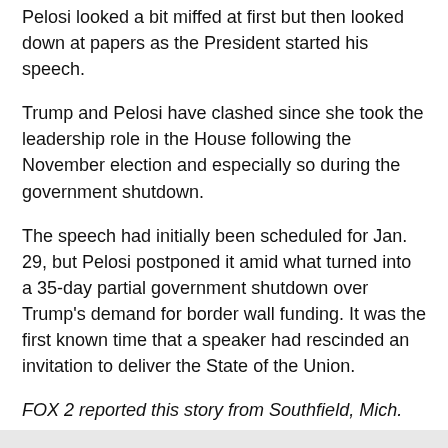Pelosi looked a bit miffed at first but then looked down at papers as the President started his speech.
Trump and Pelosi have clashed since she took the leadership role in the House following the November election and especially so during the government shutdown.
The speech had initially been scheduled for Jan. 29, but Pelosi postponed it amid what turned into a 35-day partial government shutdown over Trump's demand for border wall funding. It was the first known time that a speaker had rescinded an invitation to deliver the State of the Union.
FOX 2 reported this story from Southfield, Mich.